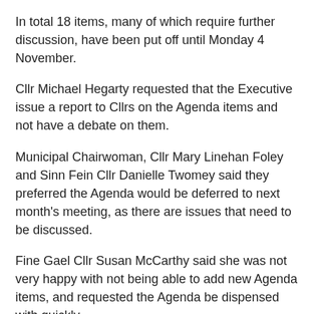In total 18 items, many of which require further discussion, have been put off until Monday 4 November.
Cllr Michael Hegarty requested that the Executive issue a report to Cllrs on the Agenda items and not have a debate on them.
Municipal Chairwoman, Cllr Mary Linehan Foley and Sinn Fein Cllr Danielle Twomey said they preferred the Agenda would be deferred to next month's meeting, as there are issues that need to be discussed.
Fine Gael Cllr Susan McCarthy said she was not very happy with not being able to add new Agenda items, and requested the Agenda be dispensed with quickly.
Cllr Noel Collins, however, said the Cllrs had made a decision with which he didn't agree, but about which he would not get angry, and said "not about to go on the agenda".